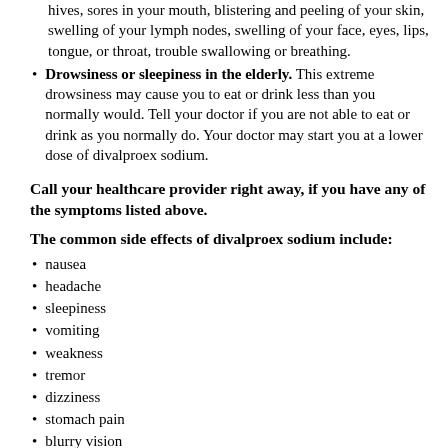hives, sores in your mouth, blistering and peeling of your skin, swelling of your lymph nodes, swelling of your face, eyes, lips, tongue, or throat, trouble swallowing or breathing.
Drowsiness or sleepiness in the elderly. This extreme drowsiness may cause you to eat or drink less than you normally would. Tell your doctor if you are not able to eat or drink as you normally do. Your doctor may start you at a lower dose of divalproex sodium.
Call your healthcare provider right away, if you have any of the symptoms listed above.
The common side effects of divalproex sodium include:
nausea
headache
sleepiness
vomiting
weakness
tremor
dizziness
stomach pain
blurry vision
double vision
diarrhea
increased appetite